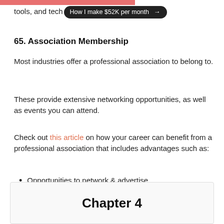tools, and tech… How I make $52K per month →
65. Association Membership
Most industries offer a professional association to belong to.
These provide extensive networking opportunities, as well as events you can attend.
Check out this article on how your career can benefit from a professional association that includes advantages such as:
Opportunities to network & advertise
Educational & industry news
Influence & opportunity to showcase your expertise
Chapter 4